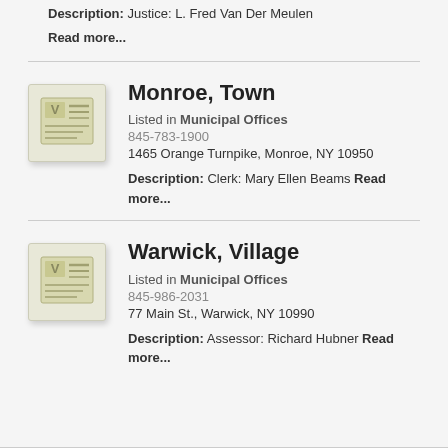Description: Justice: L. Fred Van Der Meulen Read more...
Monroe, Town
Listed in Municipal Offices
845-783-1900
1465 Orange Turnpike, Monroe, NY 10950
Description: Clerk: Mary Ellen Beams Read more...
Warwick, Village
Listed in Municipal Offices
845-986-2031
77 Main St., Warwick, NY 10990
Description: Assessor: Richard Hubner Read more...